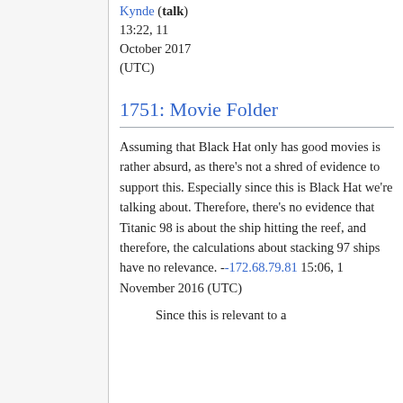Kynde (talk) 13:22, 11 October 2017 (UTC)
1751: Movie Folder
Assuming that Black Hat only has good movies is rather absurd, as there's not a shred of evidence to support this. Especially since this is Black Hat we're talking about. Therefore, there's no evidence that Titanic 98 is about the ship hitting the reef, and therefore, the calculations about stacking 97 ships have no relevance. --172.68.79.81 15:06, 1 November 2016 (UTC)
Since this is relevant to a